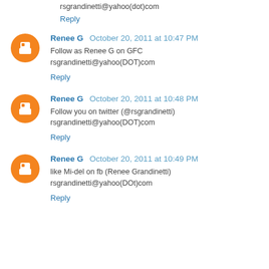rsgrandinetti@yahoo(dot)com
Reply
Renee G  October 20, 2011 at 10:47 PM
Follow as Renee G on GFC
rsgrandinetti@yahoo(DOT)com
Reply
Renee G  October 20, 2011 at 10:48 PM
Follow you on twitter (@rsgrandinetti)
rsgrandinetti@yahoo(DOT)com
Reply
Renee G  October 20, 2011 at 10:49 PM
like Mi-del on fb (Renee Grandinetti)
rsgrandinetti@yahoo(DOt)com
Reply